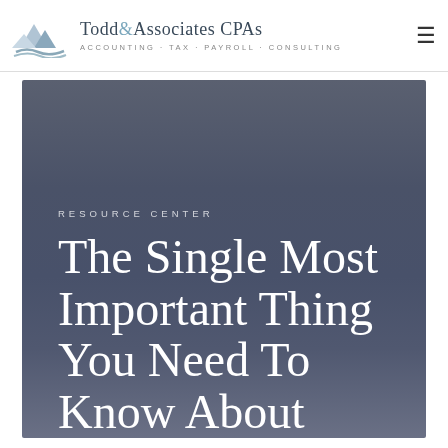Todd & Associates CPAs — ACCOUNTING · TAX · PAYROLL · CONSULTING
RESOURCE CENTER
The Single Most Important Thing You Need To Know About